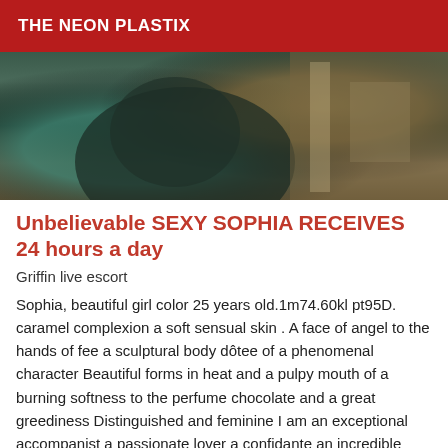THE NEON PLASTIX
[Figure (photo): A photograph showing a person in dark clothing, partial view, with a bathroom or interior setting visible in the background.]
Unbelievable SEXY SOPHIA RECEIVES 24 hours a day
Griffin live escort
Sophia, beautiful girl color 25 years old.1m74.60kl pt95D. caramel complexion a soft sensual skin . A face of angel to the hands of fee a sculptural body dôtee of a phenomenal character Beautiful forms in heat and a pulpy mouth of a burning softness to the perfume chocolate and a great greediness Distinguished and feminine I am an exceptional accompanist a passionate lover a confidante an incredible friend but also a partner.